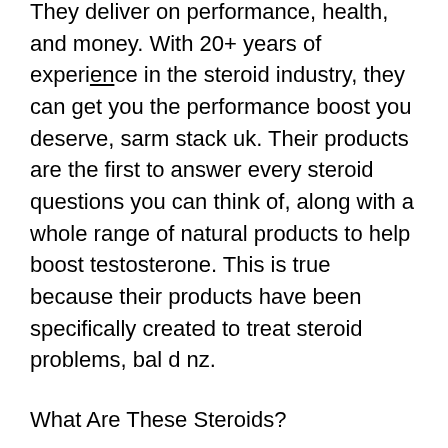They deliver on performance, health, and money. With 20+ years of experience in the steroid industry, they can get you the performance boost you deserve, sarm stack uk. Their products are the first to answer every steroid questions you can think of, along with a whole range of natural products to help boost testosterone. This is true because their products have been specifically created to treat steroid problems, bal d nz.
What Are These Steroids?
Dbal Max contains a synthetic version of the natural male hormone testosterone, sarm stack canada.
Steroids are produced in a lab by an enzyme called aromatase. It breaks down estrogen, which is what gives the rest of us estrogen, sarm stack dynamic.